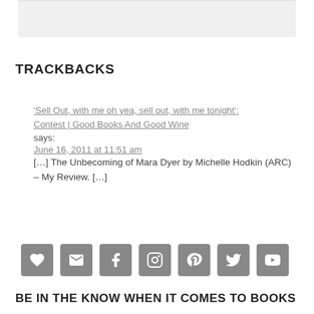[Figure (other): Gray background box at top of page]
TRACKBACKS
'Sell Out, with me oh yea, sell out, with me tonight': Contest | Good Books And Good Wine says:
June 16, 2011 at 11:51 am
[…] The Unbecoming of Mara Dyer by Michelle Hodkin (ARC) – My Review. […]
[Figure (infographic): Row of 7 social media icon buttons: heart/bloglovin, email, facebook, instagram, pinterest, twitter, youtube]
BE IN THE KNOW WHEN IT COMES TO BOOKS